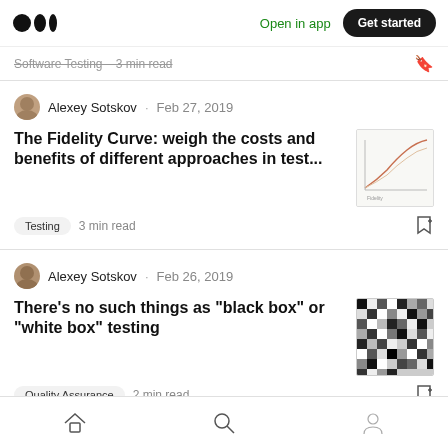Medium logo | Open in app | Get started
Software Testing · 3 min read
Alexey Sotskov · Feb 27, 2019
The Fidelity Curve: weigh the costs and benefits of different approaches in test...
[Figure (illustration): Thumbnail image showing a fidelity curve chart graphic]
Testing   3 min read
Alexey Sotskov · Feb 26, 2019
There's no such things as "black box" or "white box" testing
[Figure (photo): Thumbnail image of a black and white mosaic/checkerboard pattern]
Quality Assurance   2 min read
Home | Search | Profile